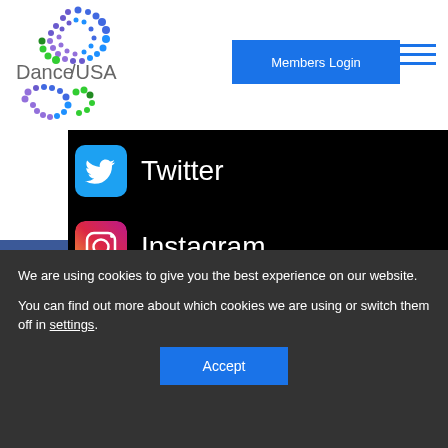[Figure (logo): Dance/USA logo with colorful dot pattern above and below the text]
Members Login
Twitter
Instagram
Youtube
Vimeo
stured in homepage video: Dance/USA 2019 Annual Conference attendees
We are using cookies to give you the best experience on our website.
You can find out more about which cookies we are using or switch them off in settings.
Accept